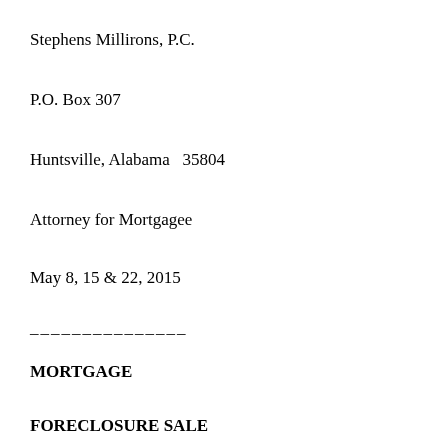Stephens Millirons, P.C.
P.O. Box 307
Huntsville, Alabama  35804
Attorney for Mortgagee
May 8, 15 & 22, 2015
_______________
MORTGAGE
FORECLOSURE SALE